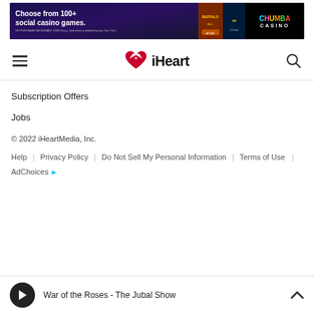[Figure (illustration): Chumba Casino advertisement banner: 'Choose from 100+ social casino games.' with game images and Chumba Casino logo. Disclaimer: NO PURCHASE NECESSARY. VGW Group. Void where prohibited by law. See T&Cs]
iHeart navigation bar with hamburger menu, iHeart logo, and search icon
Subscription Offers
Jobs
© 2022 iHeartMedia, Inc.
Help | Privacy Policy | Do Not Sell My Personal Information | Terms of Use | AdChoices
War of the Roses - The Jubal Show